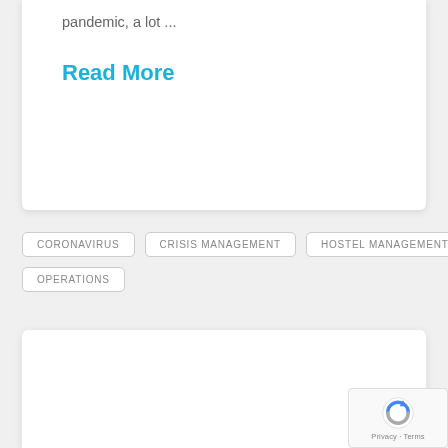pandemic, a lot ...
Read More
CORONAVIRUS
CRISIS MANAGEMENT
HOSTEL MANAGEMENT
OPERATIONS
[Figure (logo): reCAPTCHA badge with Privacy and Terms text]